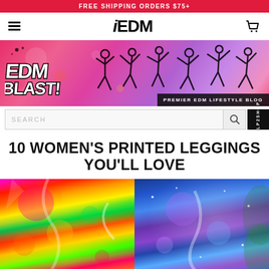FREE SHIPPING ORDERS $75+
[Figure (logo): iEDM logo in bold black stylized font with italic i]
[Figure (illustration): EDM Blast blog banner with graffiti-style logo on pink/magenta festival background with silhouette dancers, labeled PREMIER EDM LIFESTYLE BLOG]
10 WOMEN'S PRINTED LEGGINGS YOU'LL LOVE
[Figure (photo): Two models wearing printed leggings side by side: left model wearing colorful neon tie-dye leggings (pink, yellow, green, orange), right model wearing galaxy/space print leggings in blue and purple]